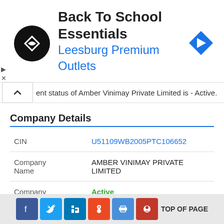[Figure (other): Advertisement banner for Back To School Essentials at Leesburg Premium Outlets with logo and navigation arrow]
ent status of Amber Vinimay Private Limited is - Active.
Company Details
| Field | Value |
| --- | --- |
| CIN | U51109WB2005PTC106652 |
| Company Name | AMBER VINIMAY PRIVATE LIMITED |
| Company Status | Active |
[Figure (other): Social media sharing icons: Facebook, Twitter, LinkedIn, StumbleUpon, Delicious, Google Plus, and TOP OF PAGE text]